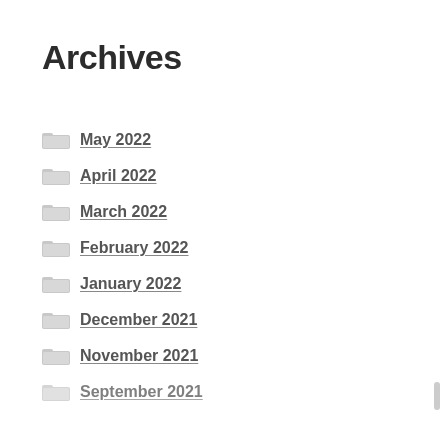Archives
May 2022
April 2022
March 2022
February 2022
January 2022
December 2021
November 2021
September 2021